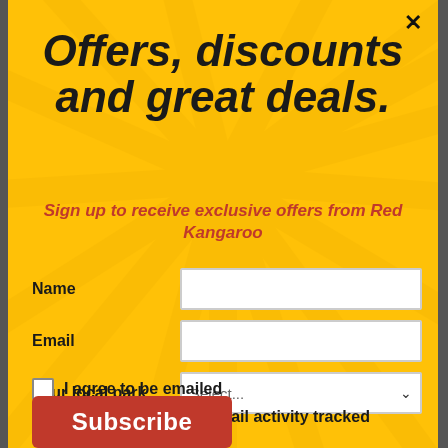Offers, discounts and great deals.
Sign up to receive exclusive offers from Red Kangaroo
Name
Email
Your local park
I agree to be emailed
I agree to have my email activity tracked
Subscribe